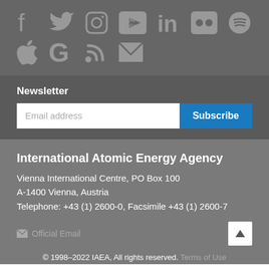[Figure (illustration): Social media icons row 1: Facebook, Twitter, Instagram, YouTube, LinkedIn, Flickr, Spotify]
[Figure (illustration): Social media icons row 2: Apple, Google, RSS, Email/Envelope]
Newsletter
[Figure (other): Email address input field with Subscribe button]
International Atomic Energy Agency
Vienna International Centre, PO Box 100
A-1400 Vienna, Austria
Telephone: +43 (1) 2600-0, Facsimile +43 (1) 2600-7
Official Email
© 1998–2022 IAEA, All rights reserved. Terms of Use